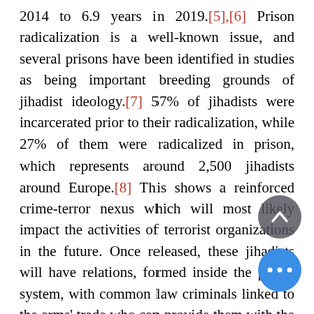2014 to 6.9 years in 2019.[5],[6] Prison radicalization is a well-known issue, and several prisons have been identified in studies as being important breeding grounds of jihadist ideology.[7] 57% of jihadists were incarcerated prior to their radicalization, while 27% of them were radicalized in prison, which represents around 2,500 jihadists around Europe.[8] This shows a reinforced crime-terror nexus which will most likely impact the activities of terrorist organizations in the future. Once released, these jihadists will have relations, formed inside the prison system, with common law criminals linked to the arms' trade who can provide them with the necessary weapons to carry out murderous attacks in service of their ideology. Therefore, European prisons harbor numerous jihadists and radicalized common law criminals, many of whom have already or will soon, finish serving their sentences, and be released. For